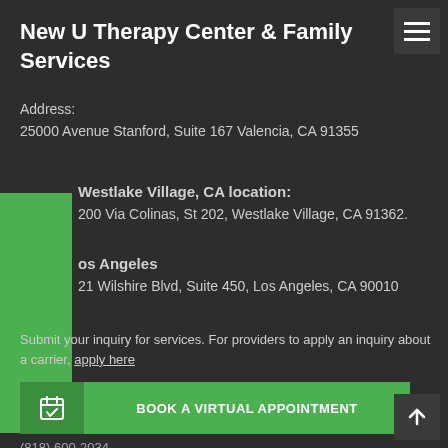New U Therapy Center & Family Services
Address:
25000 Avenue Stanford, Suite 167 Valencia, CA 91355
Westlake Village, CA location:
200 Via Colinas, St 202, Westlake Village, CA 91362.
Los Angeles
21 Wilshire Blvd, Suite 450, Los Angeles, CA 90010
Submit your inquiry for services. For providers to apply an inquiry about a carrier, apply here
BOOK A VIRTUAL APPOINTMENT
(818) 600-2034
Email: